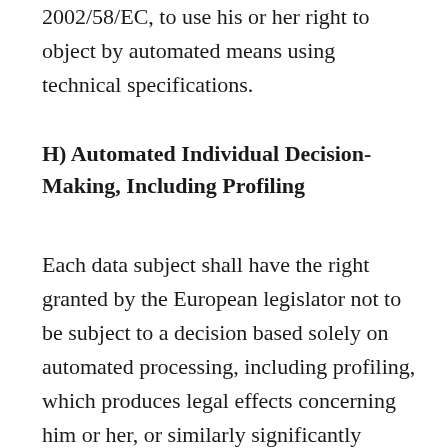2002/58/EC, to use his or her right to object by automated means using technical specifications.
H) Automated Individual Decision-Making, Including Profiling
Each data subject shall have the right granted by the European legislator not to be subject to a decision based solely on automated processing, including profiling, which produces legal effects concerning him or her, or similarly significantly affects him or her, as long as the decision (1) is not is necessary for entering into, or the performance of, a contract between the data subject and a data controller, or (2) is not authorised by Union or Member State law